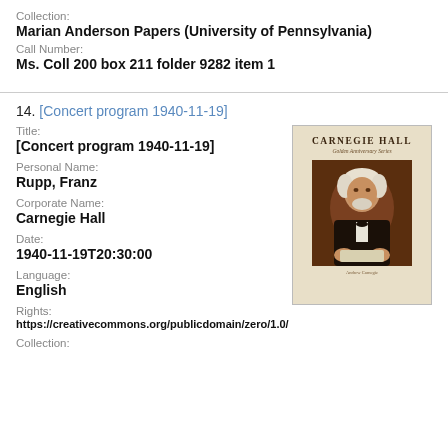Collection:
Marian Anderson Papers (University of Pennsylvania)
Call Number:
Ms. Coll 200 box 211 folder 9282 item 1
14. [Concert program 1940-11-19]
Title:
[Concert program 1940-11-19]
Personal Name:
Rupp, Franz
Corporate Name:
Carnegie Hall
Date:
1940-11-19T20:30:00
Language:
English
Rights:
https://creativecommons.org/publicdomain/zero/1.0/
Collection:
[Figure (photo): Carnegie Hall concert program cover featuring a sepia-toned portrait photograph of Andrew Carnegie with text 'CARNEGIE HALL' at top]